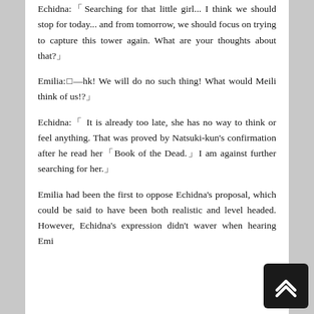Echidna: 「Searching for that little girl... I think we should stop for today... and from tomorrow, we should focus on trying to capture this tower again. What are your thoughts about that?」
Emilia: □—hk! We will do no such thing! What would Meili think of us!?」
Echidna: 「 It is already too late, she has no way to think or feel anything. That was proved by Natsuki-kun's confirmation after he read her 「Book of the Dead.」I am against further searching for her.」
Emilia had been the first to oppose Echidna’s proposal, which could be said to have been both realistic and level headed. However, Echidna’s expression didn't waver when hearing Emi